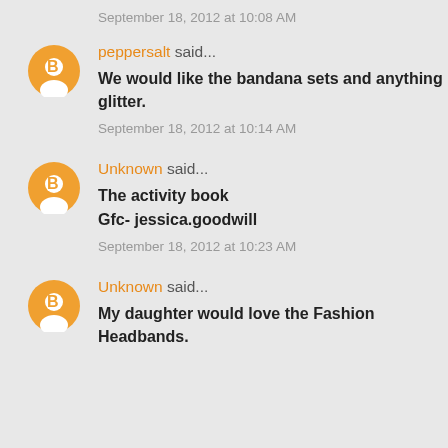September 18, 2012 at 10:08 AM
peppersalt said...
We would like the bandana sets and anything glitter.
September 18, 2012 at 10:14 AM
Unknown said...
The activity book
Gfc- jessica.goodwill
September 18, 2012 at 10:23 AM
Unknown said...
My daughter would love the Fashion Headbands.